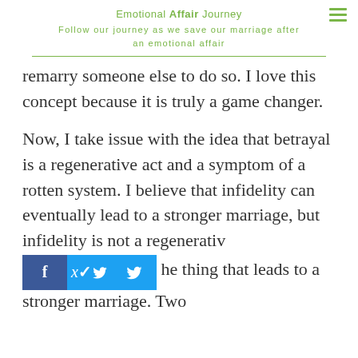Emotional Affair Journey
Follow our journey as we save our marriage after an emotional affair
remarry someone else to do so. I love this concept because it is truly a game changer.

Now, I take issue with the idea that betrayal is a regenerative act and a symptom of a rotten system. I believe that infidelity can eventually lead to a stronger marriage, but infidelity is not a regenerative [social bar] he thing that leads to a stronger marriage. Two